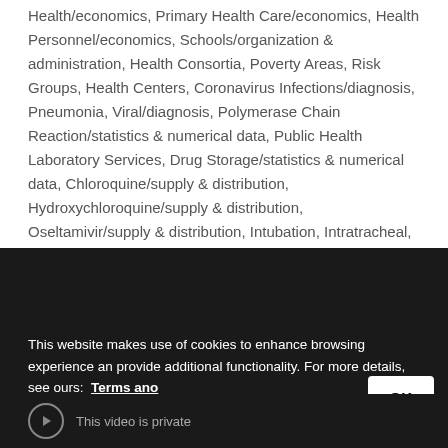Health/economics, Primary Health Care/economics, Health Personnel/economics, Schools/organization & administration, Health Consortia, Poverty Areas, Risk Groups, Health Centers, Coronavirus Infections/diagnosis, Pneumonia, Viral/diagnosis, Polymerase Chain Reaction/statistics & numerical data, Public Health Laboratory Services, Drug Storage/statistics & numerical data, Chloroquine/supply & distribution, Hydroxychloroquine/supply & distribution, Oseltamivir/supply & distribution, Intubation, Intratracheal, Gift Giving, Cannabidiol, Muscular Atrophy/prevention & control, Reference Drugs, Health of Indigenous Peoples, COVID-19, Vacina de Oxford, Fiocruz, Astrazeneca, Conitec
[Figure (screenshot): Dark background video/media area partially visible]
This website makes use of cookies to enhance browsing experience and provide additional functionality. For more details, see ours: Terms and conditions for the use and Privacy policy